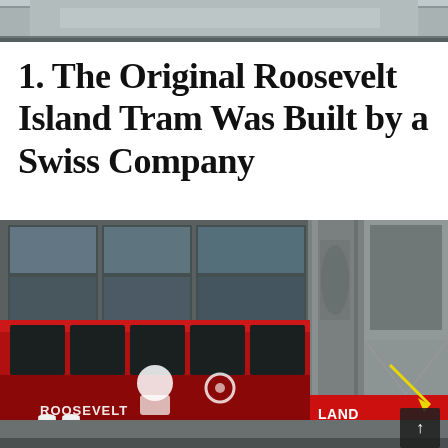[Figure (photo): Top partial photo of a tram or transit station, cropped strip showing structure]
1. The Original Roosevelt Island Tram Was Built by a Swiss Company
[Figure (photo): Photo of the original Roosevelt Island Tram car, a red and black gondola with graffiti reading 'ROOSEVELT ISLAND', parked at a station under a concrete structure with chain-link fencing and yellow arrow annotation visible]